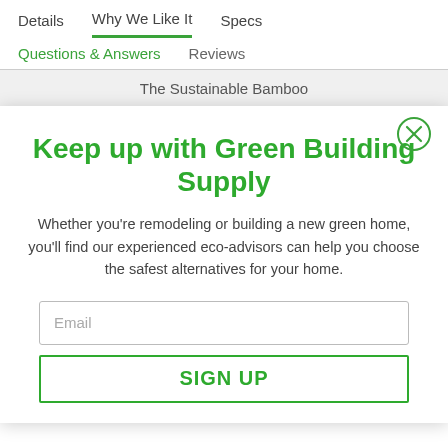Details   Why We Like It   Specs
Questions & Answers   Reviews
The Sustainable Bamboo
Keep up with Green Building Supply
Whether you're remodeling or building a new green home, you'll find our experienced eco-advisors can help you choose the safest alternatives for your home.
Email
SIGN UP